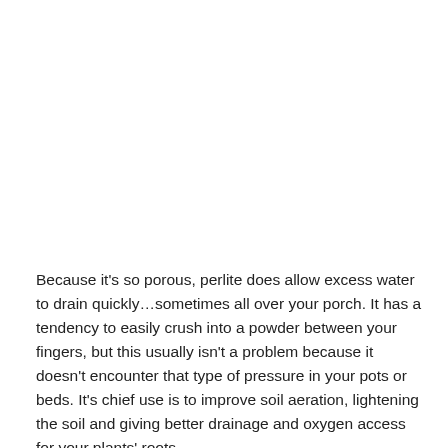Because it's so porous, perlite does allow excess water to drain quickly…sometimes all over your porch. It has a tendency to easily crush into a powder between your fingers, but this usually isn't a problem because it doesn't encounter that type of pressure in your pots or beds. It's chief use is to improve soil aeration, lightening the soil and giving better drainage and oxygen access for your plants' roots.